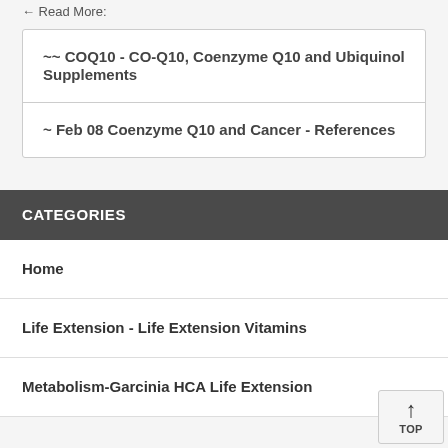← Read More:
~~ COQ10 - CO-Q10, Coenzyme Q10 and Ubiquinol Supplements
~ Feb 08 Coenzyme Q10 and Cancer - References
CATEGORIES
Home
Life Extension - Life Extension Vitamins
Metabolism-Garcinia HCA Life Extension